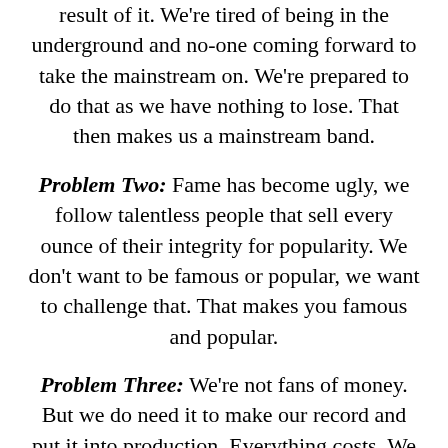result of it. We're tired of being in the underground and no-one coming forward to take the mainstream on. We're prepared to do that as we have nothing to lose. That then makes us a mainstream band.
Problem Two: Fame has become ugly, we follow talentless people that sell every ounce of their integrity for popularity. We don't want to be famous or popular, we want to challenge that. That makes you famous and popular.
Problem Three: We're not fans of money. But we do need it to make our record and put it into production. Everything costs. We hate asking for money but we have to ask our fans to pledge on Kickstarter so we can do just that.